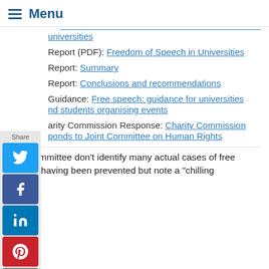Menu
universities (link, truncated)
Report (PDF): Freedom of Speech in Universities
Report: Summary
Report: Conclusions and recommendations
Guidance: Free speech: guidance for universities and students organising events
Charity Commission Response: Charity Commission responds to Joint Committee on Human Rights
The Committee don't identify many actual cases of free speech having been prevented but note a "chilling effect" (details cut off)